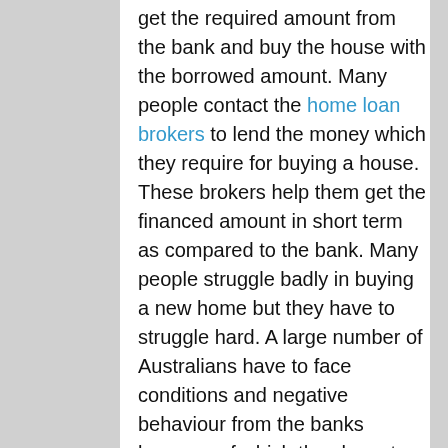get the required amount from the bank and buy the house with the borrowed amount. Many people contact the home loan brokers to lend the money which they require for buying a house. These brokers help them get the financed amount in short term as compared to the bank. Many people struggle badly in buying a new home but they have to struggle hard. A large number of Australians have to face conditions and negative behaviour from the banks because of which they have to contact the brokers. The brokers somehow have a negative role in society but a majority of people depend on them due to their efficient services on getting their needs fulfilled by the finance broker they do not care about other things.